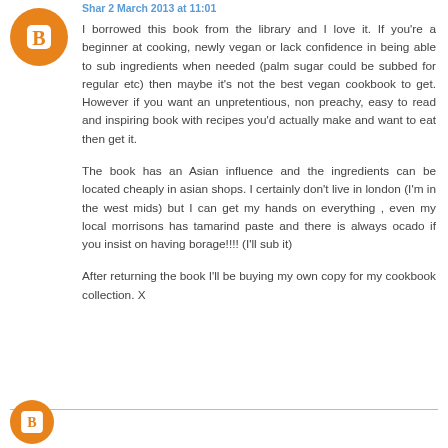Shar 2 March 2013 at 11:01
I borrowed this book from the library and I love it. If you're a beginner at cooking, newly vegan or lack confidence in being able to sub ingredients when needed (palm sugar could be subbed for regular etc) then maybe it's not the best vegan cookbook to get. However if you want an unpretentious, non preachy, easy to read and inspiring book with recipes you'd actually make and want to eat then get it.
The book has an Asian influence and the ingredients can be located cheaply in asian shops. I certainly don't live in london (I'm in the west mids) but I can get my hands on everything , even my local morrisons has tamarind paste and there is always ocado if you insist on having borage!!!! (I'll sub it)
After returning the book I'll be buying my own copy for my cookbook collection. X